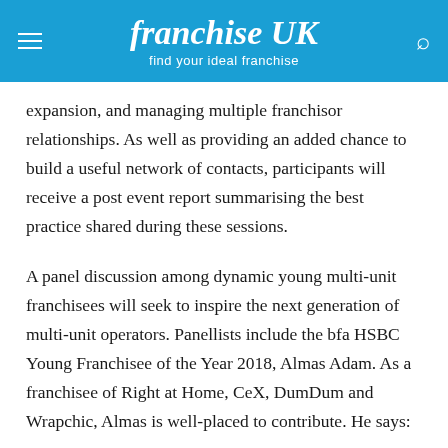franchise UK — find your ideal franchise
expansion, and managing multiple franchisor relationships. As well as providing an added chance to build a useful network of contacts, participants will receive a post event report summarising the best practice shared during these sessions.
A panel discussion among dynamic young multi-unit franchisees will seek to inspire the next generation of multi-unit operators. Panellists include the bfa HSBC Young Franchisee of the Year 2018, Almas Adam. As a franchisee of Right at Home, CeX, DumDum and Wrapchic, Almas is well-placed to contribute. He says:
“My journey from owning one Right at Home franchise to